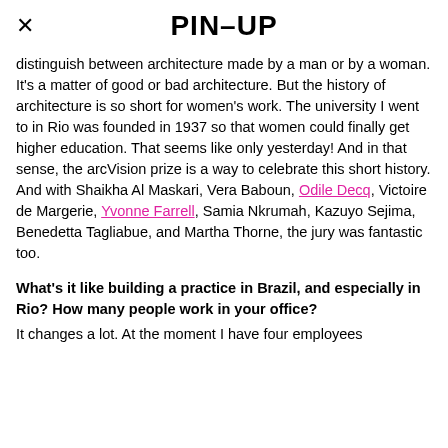× PIN–UP
distinguish between architecture made by a man or by a woman. It's a matter of good or bad architecture. But the history of architecture is so short for women's work. The university I went to in Rio was founded in 1937 so that women could finally get higher education. That seems like only yesterday! And in that sense, the arcVision prize is a way to celebrate this short history. And with Shaikha Al Maskari, Vera Baboun, Odile Decq, Victoire de Margerie, Yvonne Farrell, Samia Nkrumah, Kazuyo Sejima, Benedetta Tagliabue, and Martha Thorne, the jury was fantastic too.
What's it like building a practice in Brazil, and especially in Rio? How many people work in your office?
It changes a lot. At the moment I have four employees